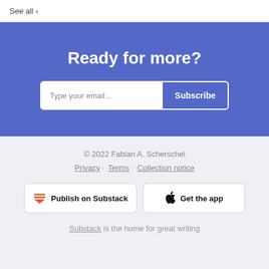See all >
Ready for more?
Type your email...   Subscribe
© 2022 Fabian A. Scherschel
Privacy · Terms · Collection notice
Publish on Substack
Get the app
Substack is the home for great writing